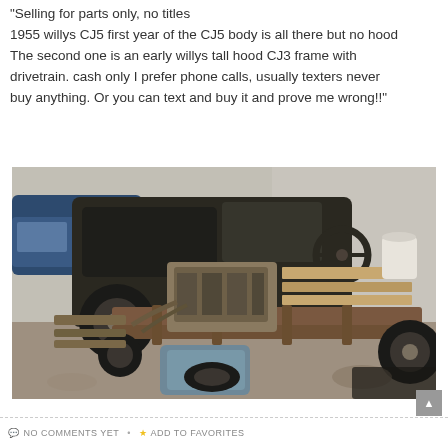“Selling for parts only, no titles
1955 willys CJ5 first year of the CJ5 body is all there but no hood
The second one is an early willys tall hood CJ3 frame with drivetrain. cash only I prefer phone calls, usually texters never buy anything. Or you can text and buy it and prove me wrong!!”
[Figure (photo): Photograph of two disassembled vintage Willys Jeeps in a junkyard or outdoor lot. One has a dark body with no hood; the other is a bare frame with an exposed engine, drivetrain parts, steering wheel, and wooden planks scattered around. A blue car is visible in the background near a concrete wall.]
NO COMMENTS YET • ★ ADD TO FAVORITES